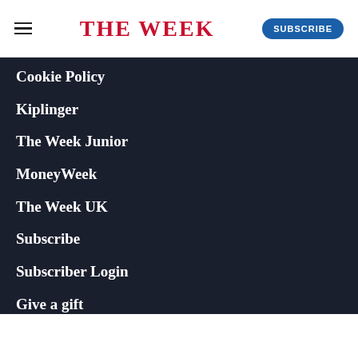THE WEEK
Cookie Policy
Kiplinger
The Week Junior
MoneyWeek
The Week UK
Subscribe
Subscriber Login
Give a gift
Classroom subscriptions
Customer Services